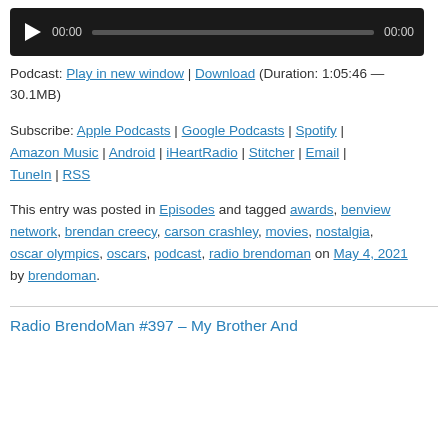[Figure (other): Audio player with play button, time displays (00:00 and 00:00), and a progress bar on a dark background.]
Podcast: Play in new window | Download (Duration: 1:05:46 — 30.1MB)
Subscribe: Apple Podcasts | Google Podcasts | Spotify | Amazon Music | Android | iHeartRadio | Stitcher | Email | TuneIn | RSS
This entry was posted in Episodes and tagged awards, benview network, brendan creecy, carson crashley, movies, nostalgia, oscar olympics, oscars, podcast, radio brendoman on May 4, 2021 by brendoman.
Radio BrendoMan #397 – My Brother And